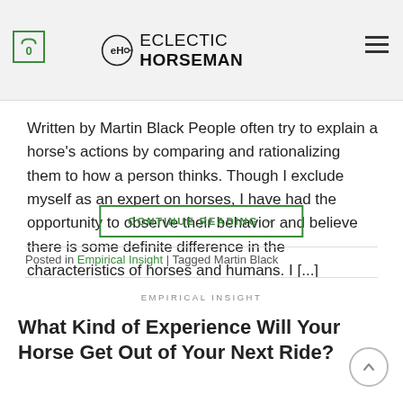Eclectic Horseman — site header with cart (0), logo, and hamburger menu
Written by Martin Black People often try to explain a horse's actions by comparing and rationalizing them to how a person thinks. Though I exclude myself as an expert on horses, I have had the opportunity to observe their behavior and believe there is some definite difference in the characteristics of horses and humans. I [...]
CONTINUE READING →
Posted in Empirical Insight | Tagged Martin Black
EMPIRICAL INSIGHT
What Kind of Experience Will Your Horse Get Out of Your Next Ride?